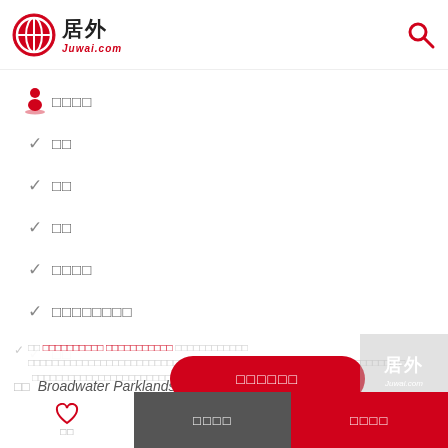居外 Juwai.com
□□□□
✓ □□
✓ □□
✓ □□
✓ □□□□
✓ □□□□□□□□
✓ □□
□□ □□□□□□□□□□ □□□□□□□□□□□□ □□□□□□□□□□□□□□□□□□□□□□□□□□□□□□□□□□□□□□□□□□□□□□□□□□□□□□□□□□□□□□□□□□□□□□□□ □ □□□□□□□□□□□□□□□□□□□□□□□□□□□□□□□□□□□□□□
□□ Broadwater Parklands
□□□□□□
BEACH Mainbeach
□□
□□□□
□□□□